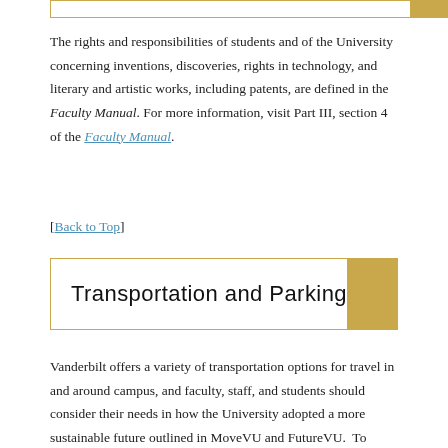The rights and responsibilities of students and of the University concerning inventions, discoveries, rights in technology, and literary and artistic works, including patents, are defined in the Faculty Manual. For more information, visit Part III, section 4 of the Faculty Manual.
[Back to Top]
Transportation and Parking
Vanderbilt offers a variety of transportation options for travel in and around campus, and faculty, staff, and students should consider their needs in how the University adopted a more sustainable future outlined in MoveVU and FutureVU. To reduce the University's carbon footprint,